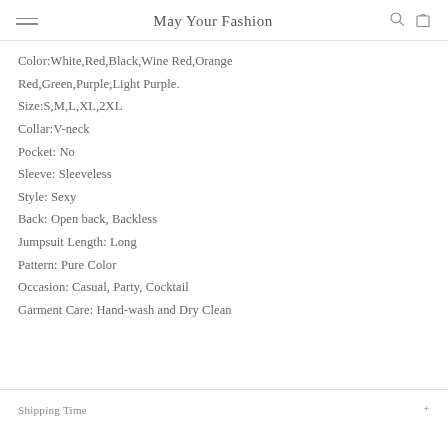May Your Fashion
Color:White,Red,Black,Wine Red,Orange Red,Green,Purple,Light Purple.
Size:S,M,L,XL,2XL
Collar:V-neck
Pocket: No
Sleeve: Sleeveless
Style: Sexy
Back: Open back, Backless
Jumpsuit Length: Long
Pattern: Pure Color
Occasion: Casual, Party, Cocktail
Garment Care: Hand-wash and Dry Clean
Shipping Time